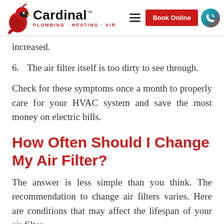Cardinal Plumbing · Heating · Air — Book Online
increased.
6. The air filter itself is too dirty to see through.
Check for these symptoms once a month to properly care for your HVAC system and save the most money on electric bills.
How Often Should I Change My Air Filter?
The answer is less simple than you think. The recommendation to change air filters varies. Here are conditions that may affect the lifespan of your air filter.